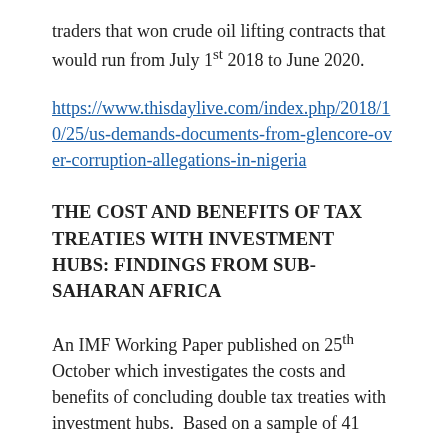traders that won crude oil lifting contracts that would run from July 1st 2018 to June 2020.
https://www.thisdaylive.com/index.php/2018/10/25/us-demands-documents-from-glencore-over-corruption-allegations-in-nigeria
THE COST AND BENEFITS OF TAX TREATIES WITH INVESTMENT HUBS: FINDINGS FROM SUB-SAHARAN AFRICA
An IMF Working Paper published on 25th October which investigates the costs and benefits of concluding double tax treaties with investment hubs.  Based on a sample of 41